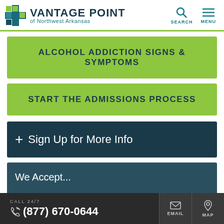[Figure (logo): Vantage Point of Northwest Arkansas logo with cross icon]
ALCOHOL ADDICTION SIGNS & SYMPTOMS
START THE ADMISSIONS PROCESS
+ Sign Up for More Info
We Accept...
CALL 24/7 (877) 670-0644 EMAIL MAP